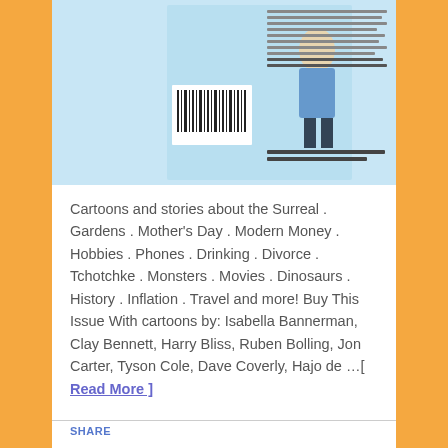[Figure (illustration): Book cover image for a humor/cartoon magazine issue with light blue background, barcode visible, and text listing contributors and topics.]
Cartoons and stories about the Surreal . Gardens . Mother's Day . Modern Money . Hobbies . Phones . Drinking . Divorce . Tchotchke . Monsters . Movies . Dinosaurs . History . Inflation . Travel and more! Buy This Issue With cartoons by: Isabella Bannerman, Clay Bennett, Harry Bliss, Ruben Bolling, Jon Carter, Tyson Cole, Dave Coverly, Hajo de …[ Read More ]
SHARE